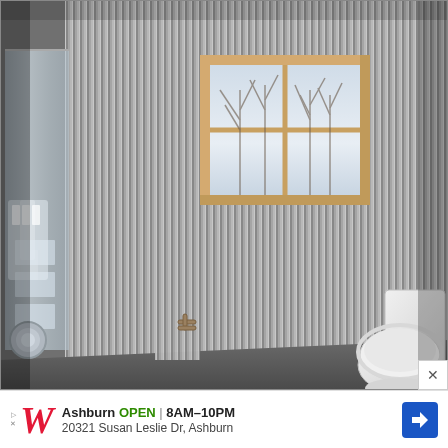[Figure (photo): Interior bathroom photo showing corrugated metal/galvanized steel walls and ceiling, a frosted glass shower enclosure on the left with chrome shower fixtures, a wooden-framed window in the center-back wall showing bare winter trees outside, and a white toilet on the right side. The overall aesthetic is industrial with corrugated metal panels covering all surfaces.]
Ashburn OPEN 8AM–10PM 20321 Susan Leslie Dr, Ashburn